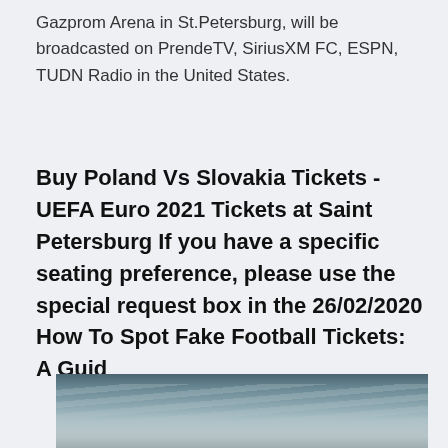Gazprom Arena in St.Petersburg, will be broadcasted on PrendeTV, SiriusXM FC, ESPN, TUDN Radio in the United States.
Buy Poland Vs Slovakia Tickets - UEFA Euro 2021 Tickets at Saint Petersburg If you have a specific seating preference, please use the special request box in the 26/02/2020 How To Spot Fake Football Tickets: A Guid
[Figure (photo): A photograph showing a cloudy sky with grey and light tones, possibly an aerial or outdoor scene.]